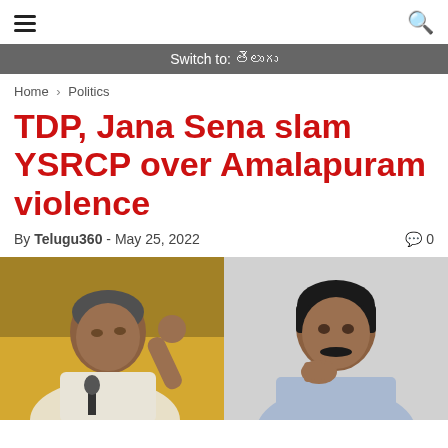≡  [search icon]
Switch to: తెలుగు
Home › Politics
TDP, Jana Sena slam YSRCP over Amalapuram violence
By Telugu360 - May 25, 2022  🗨 0
[Figure (photo): Two politicians side by side: left shows an older man in white shirt gesturing with thumb up near a microphone; right shows a younger man with mustache in light blue shirt resting hand near chin]